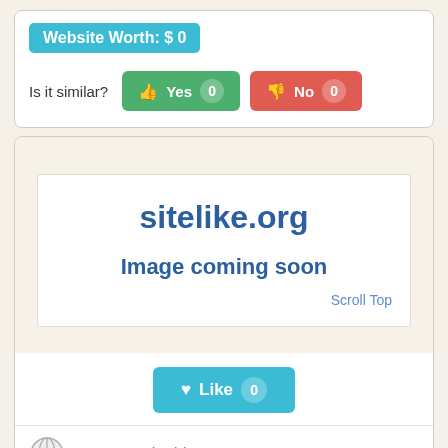Website Worth: $ 0
Is it similar?
Yes 0
No 0
[Figure (screenshot): Website preview box showing sitelike.org text and Image coming soon placeholder with Scroll Top link]
Like 0
annette-schmidt.com